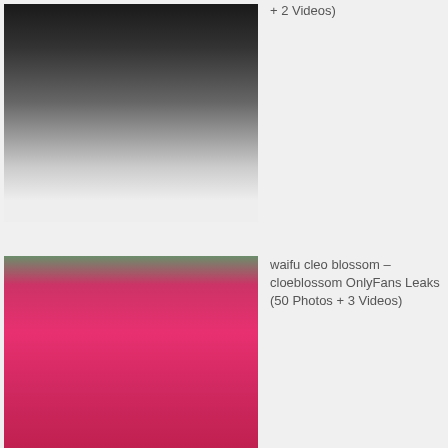[Figure (photo): Black and white photo of a woman wearing glasses]
+ 2 Videos)
[Figure (photo): Color photo of a woman in a pink/magenta long-sleeve crop top with arms raised]
waifu cleo blossom – cloeblossom OnlyFans Leaks (50 Photos + 3 Videos)